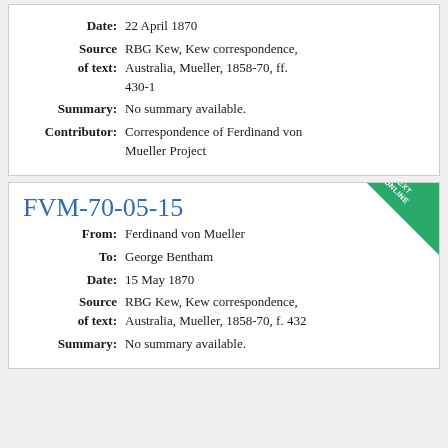| Date: | 22 April 1870 |
| Source of text: | RBG Kew, Kew correspondence, Australia, Mueller, 1858-70, ff. 430-1 |
| Summary: | No summary available. |
| Contributor: | Correspondence of Ferdinand von Mueller Project |
FVM-70-05-15
| From: | Ferdinand von Mueller |
| To: | George Bentham |
| Date: | 15 May 1870 |
| Source of text: | RBG Kew, Kew correspondence, Australia, Mueller, 1858-70, f. 432 |
| Summary: | No summary available. |